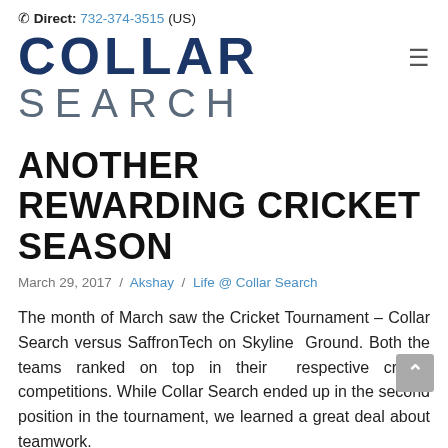☎ Direct: 732-374-3515 (US)
[Figure (logo): Collar Search company logo — 'COLLAR' in large dark navy bold text above 'SEARCH' in grey spaced letters, with a hamburger menu icon on the right]
ANOTHER REWARDING CRICKET SEASON
March 29, 2017 / Akshay / Life @ Collar Search
The month of March saw the Cricket Tournament – Collar Search versus SaffronTech on Skyline Ground. Both the teams ranked on top in their respective cricket competitions. While Collar Search ended up in the second position in the tournament, we learned a great deal about teamwork.